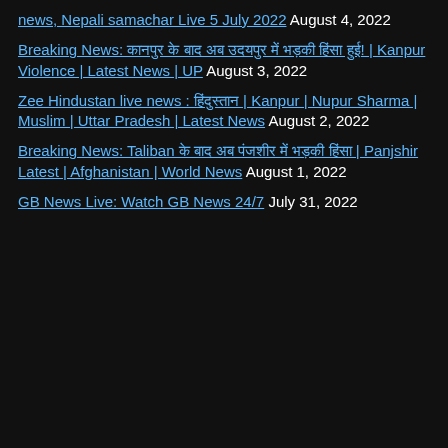news, Nepali samachar Live 5 July 2022 August 4, 2022
Breaking News: कानपुर के बाद अब उदयपुर में भड़की हिंसा हुई! | Kanpur Violence | Latest News | UP August 3, 2022
Zee Hindustan live news : हिंदुस्तान | Kanpur | Nupur Sharma | Muslim | Uttar Pradesh | Latest News August 2, 2022
Breaking News: Taliban के बाद अब पंजशीर में भड़की हिंसा | Panjshir Latest | Afghanistan | World News August 1, 2022
GB News Live: Watch GB News 24/7 July 31, 2022